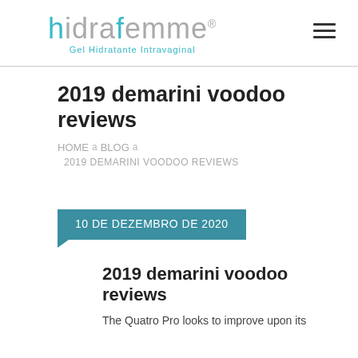hidrafemme® Gel Hidratante Intravaginal
2019 demarini voodoo reviews
HOME a  BLOG a  2019 DEMARINI VOODOO REVIEWS
10 DE DEZEMBRO DE 2020
2019 demarini voodoo reviews
The Quatro Pro looks to improve upon its